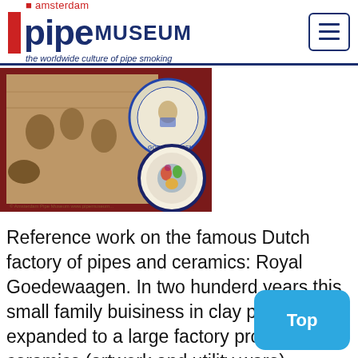amsterdam pipe MUSEUM – the worldwide culture of pipe smoking
[Figure (photo): Book cover image showing a historical black-and-white photograph of a pipe factory interior with workers, overlaid with two decorative ceramic plates on a dark red background. The Amsterdam Pipe Museum watermark is visible.]
Reference work on the famous Dutch factory of pipes and ceramics: Royal Goedewaagen. In two hunderd years this small family buisiness in clay pipes expanded to a large factory producing ceramics (artwork and utility ware) alongside the claypipes. The products are discussed in the scope of history, sodial backgrounds, design and economic possibilities. Richly illustrated